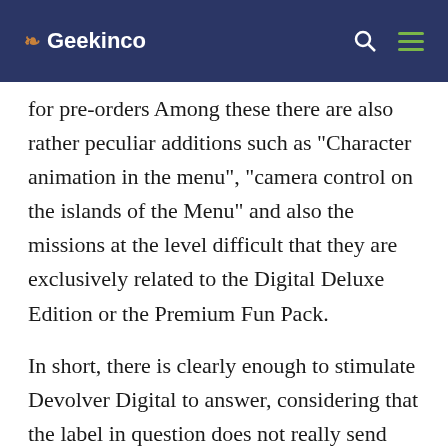❧ Geekinco
for pre-orders Among these there are also rather peculiar additions such as "Character animation in the menu", "camera control on the islands of the Menu" and also the missions at the level difficult that they are exclusively related to the Digital Deluxe Edition or the Premium Fun Pack.
In short, there is clearly enough to stimulate Devolver Digital to answer, considering that the label in question does not really send them to say , Usually. The result is visible in the tweet below, dedicated to Trek to Yomi and clearly to be